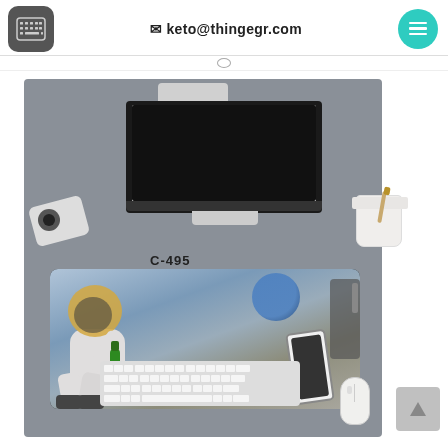keto@thingegr.com
[Figure (photo): Product page screenshot showing a desk mat/mousepad with astronaut on moon design (C-495), displayed in context with a monitor, keyboard, mouse, phone, camera, and cup on a gray desk surface. The mousepad features an astronaut relaxing on the moon holding a green bottle, with Earth visible in the background.]